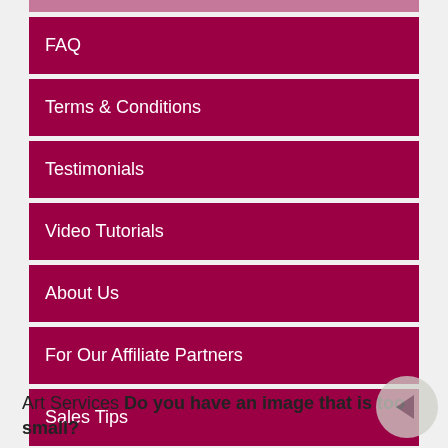FAQ
Terms & Conditions
Testimonials
Video Tutorials
About Us
For Our Affiliate Partners
Sales Tips
Thoughts from SMT
Art Services Do you have an image that is too small?